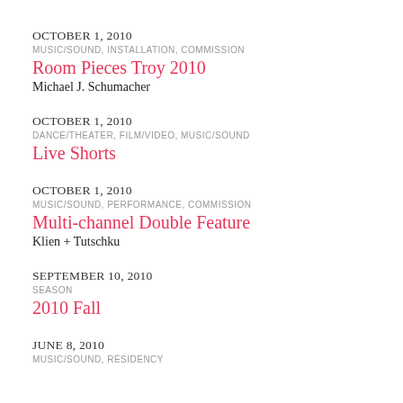OCTOBER 1, 2010
MUSIC/SOUND, INSTALLATION, COMMISSION
Room Pieces Troy 2010
Michael J. Schumacher
OCTOBER 1, 2010
DANCE/THEATER, FILM/VIDEO, MUSIC/SOUND
Live Shorts
OCTOBER 1, 2010
MUSIC/SOUND, PERFORMANCE, COMMISSION
Multi-channel Double Feature
Klien + Tutschku
SEPTEMBER 10, 2010
SEASON
2010 Fall
JUNE 8, 2010
MUSIC/SOUND, RESIDENCY